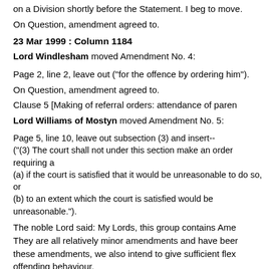on a Division shortly before the Statement. I beg to move.
On Question, amendment agreed to.
23 Mar 1999 : Column 1184
Lord Windlesham moved Amendment No. 4:
Page 2, line 2, leave out ("for the offence by ordering him").
On Question, amendment agreed to.
Clause 5 [Making of referral orders: attendance of parents]:
Lord Williams of Mostyn moved Amendment No. 5:
Page 5, line 10, leave out subsection (3) and insert--
("(3) The court shall not under this section make an order requiring a
(a) if the court is satisfied that it would be unreasonable to do so, or
(b) to an extent which the court is satisfied would be unreasonable.").
The noble Lord said: My Lords, this group contains Amendments Nos. 5, 6 and 7. They are all relatively minor amendments and have been. With these amendments, we also intend to give sufficient flexibility in offending behaviour.
Amendments Nos. 5, 6 and 7 seek to ensure maximum participation; objective is to ensure that parents are fully involved. Your...